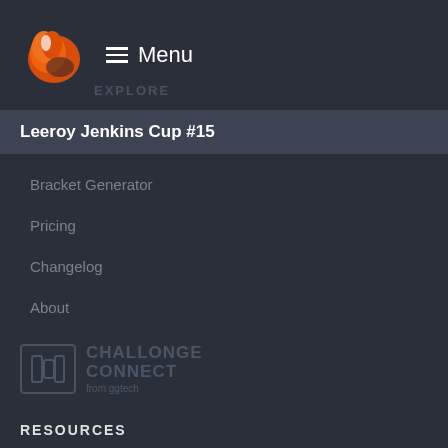[Figure (logo): Orange and white swirl/feather logo icon]
Menu
EXPLORE
Leeroy Jenkins Cup #15
Bracket Generator
Pricing
Changelog
About
[Figure (logo): Challonge Connect logo from ggtech]
RESOURCES
Knowledge Base
API
Terms